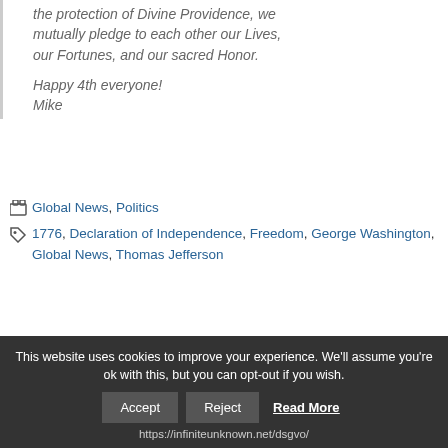the protection of Divine Providence, we mutually pledge to each other our Lives, our Fortunes, and our sacred Honor.

Happy 4th everyone!
Mike
Categories: Global News, Politics
Tags: 1776, Declaration of Independence, Freedom, George Washington, Global News, Thomas Jefferson
← Scientists Detect Highest Cesium Levels In A Year In Fukushima City: Rooftop Moss Exceeds 1.7 Million
This website uses cookies to improve your experience. We'll assume you're ok with this, but you can opt-out if you wish.
Accept  Reject  Read More
https://infiniteunknown.net/dsgvo/